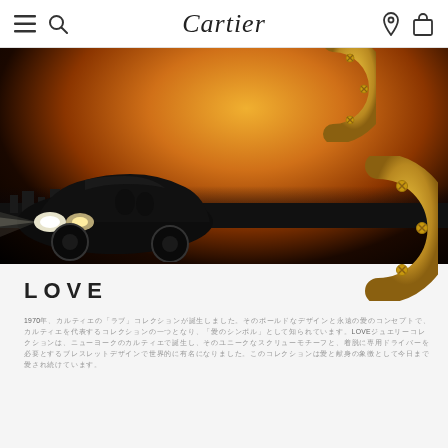Cartier navigation bar with menu, search, logo, location, and bag icons
[Figure (photo): Hero banner showing a couple in a dark vintage car at sunset/dusk with city silhouette in background. Two Cartier LOVE collection gold hoop earrings overlay the right side of the image.]
LOVE
1970年，LOVE系列珠宝诞生，其大胆的设计风格与永恒的爱情理念，令其成为卡地亚最具代表性的系列之一，被誉为"爱情符号"。